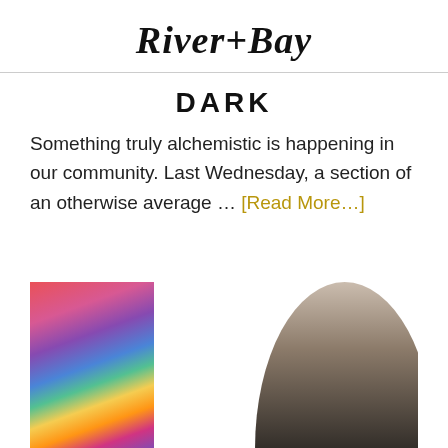River+Bay
DARK
Something truly alchemistic is happening in our community. Last Wednesday, a section of an otherwise average … [Read More…]
[Figure (photo): An artist studio scene showing colorful abstract paintings on the left, a large charcoal portrait sketch in the center on an easel, and a woman with blonde hair viewed from behind on the right, with colorful landscape paintings in the background.]